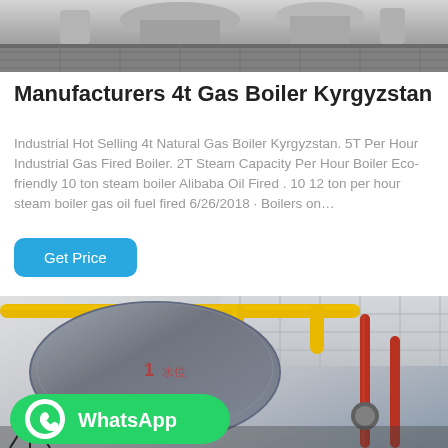[Figure (photo): Industrial boiler room or manufacturing facility, top partial image showing equipment and grating floor]
Manufacturers 4t Gas Boiler Kyrgyzstan
Industrial Hot Selling 4t Natural Gas Boiler Kyrgyzstan. 5T Per Hour Industrial Gas Fired Boiler. 2T Steam Capacity Per Hour Boiler Eco-friendly 10 ton steam boiler Alibaba Oil Fired . 10 12 ton per hour steam boiler gas oil fuel fired 6/26/2018 · Boilers on…
[Figure (photo): Industrial gas boiler with yellow and red pipes in a factory, with WhatsApp button overlay at bottom left]